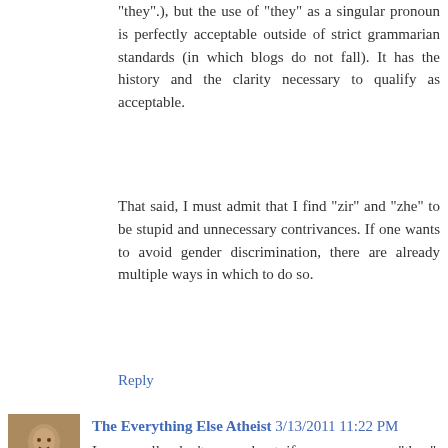"they".), but the use of "they" as a singular pronoun is perfectly acceptable outside of strict grammarian standards (in which blogs do not fall). It has the history and the clarity necessary to qualify as acceptable.
That said, I must admit that I find "zir" and "zhe" to be stupid and unnecessary contrivances. If one wants to avoid gender discrimination, there are already multiple ways in which to do so.
Reply
The Everything Else Atheist 3/13/2011 11:22 PM
I personally don't care about if someone uses "they", "zhe", "he or she" or "one". The specific word is not important, what's important to me is avoiding making assumptions about gender, and allows this post to more easily apply to males/females/etc. I happen to like using zhe/zir because that's what I prefer. To object to progressive change in language that allows for easier use of non-assuming language is just that: objecting to progress.